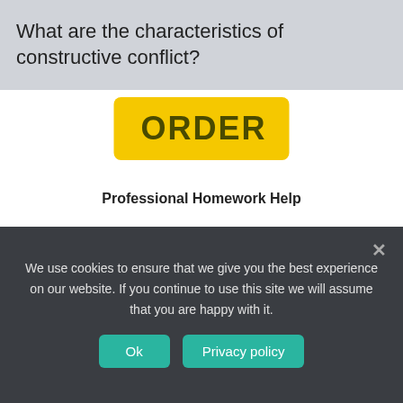What are the characteristics of constructive conflict?
[Figure (other): Yellow ORDER button for homework help service]
Professional Homework Help
[Figure (logo): OnlineDivorcer advertisement banner with logo and Full Divorce Package text on peach background]
We use cookies to ensure that we give you the best experience on our website. If you continue to use this site we will assume that you are happy with it.
Ok
Privacy policy